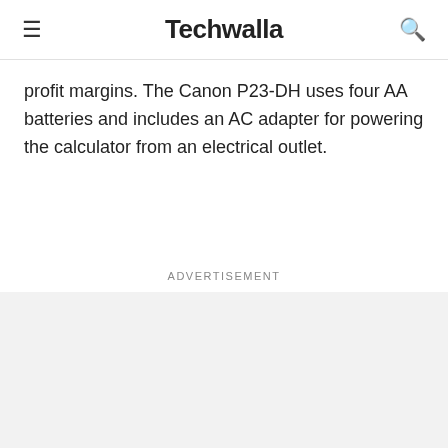☰ Techwalla 🔍
profit margins. The Canon P23-DH uses four AA batteries and includes an AC adapter for powering the calculator from an electrical outlet.
Advertisement